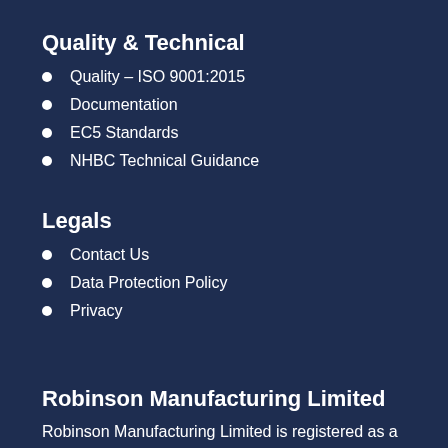Quality & Technical
Quality – ISO 9001:2015
Documentation
EC5 Standards
NHBC Technical Guidance
Legals
Contact Us
Data Protection Policy
Privacy
Robinson Manufacturing Limited
Robinson Manufacturing Limited is registered as a company in England and Wales, registered